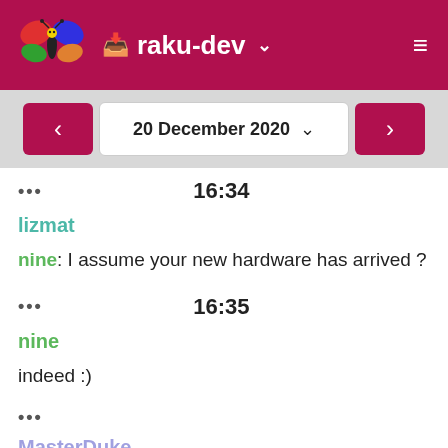raku-dev
20 December 2020
••• 16:34
lizmat
nine: I assume your new hardware has arrived ?
••• 16:35
nine
indeed :)
•••
MasterDuke